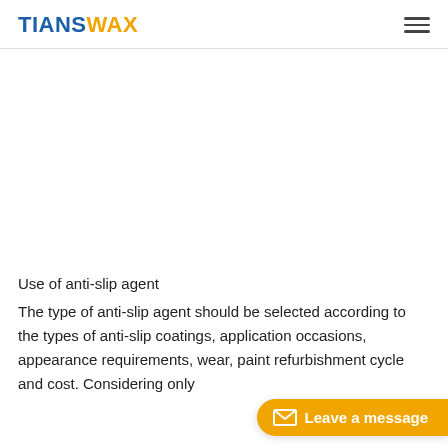TIANSWAX
[Figure (other): Large blank/white image area placeholder for an anti-slip agent product image]
Use of anti-slip agent
The type of anti-slip agent should be selected according to the types of anti-slip coatings, application occasions, appearance requirements, wear, paint refurbishment cycle and cost. Considering only